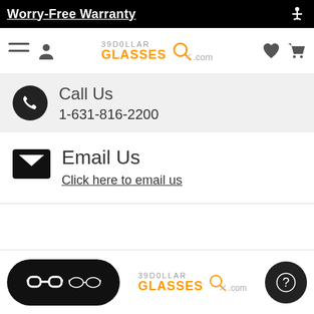Worry-Free Warranty
[Figure (screenshot): 39DollarGlasses.com website navigation bar with hamburger menu, user icon, logo, heart icon, and cart icon]
Call Us
1-631-816-2200
Email Us
Click here to email us
[Figure (logo): 39DollarGlasses.com footer logo with glasses toggle icon and help button]